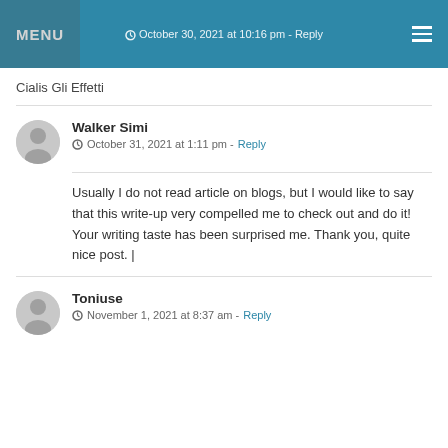MENU | October 30, 2021 at 10:16 pm - Reply
Cialis Gli Effetti
Walker Simi
October 31, 2021 at 1:11 pm - Reply
Usually I do not read article on blogs, but I would like to say that this write-up very compelled me to check out and do it! Your writing taste has been surprised me. Thank you, quite nice post. |
Toniuse
November 1, 2021 at 8:37 am - Reply